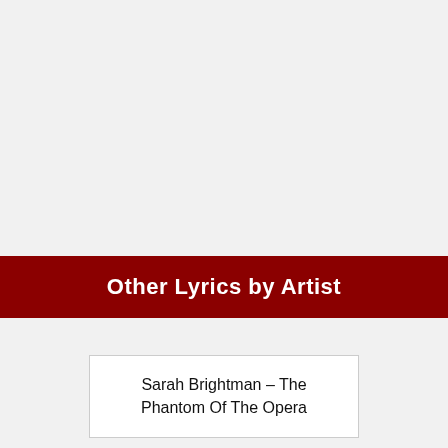Other Lyrics by Artist
Sarah Brightman – The Phantom Of The Opera